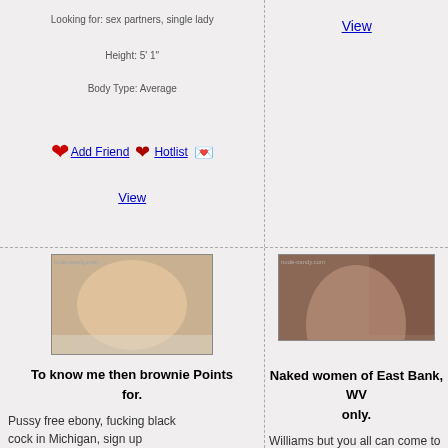Looking for: sex partners, single lady
Height: 5' 1"
Body Type: Average
❤ Add Friend ❤ Hotlist ✉
View
View
[Figure (photo): Profile photo of a woman]
To know me then brownie Points for.
Pussy free ebony, fucking black cock in Michigan, sign up
[Figure (photo): Profile photo of a dark-haired woman]
Naked women of East Bank, WV only.
Williams but you all can come to